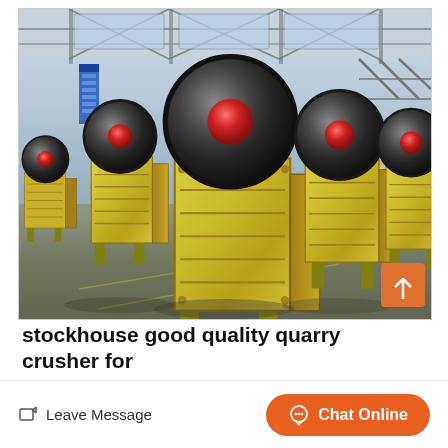[Figure (photo): Industrial factory floor showing multiple yellow jaw crusher machines with large black flywheel wheels with red centers, arranged in rows inside a warehouse with steel roof structure and blue lighting]
stockhouse good quality quarry crusher for
Leave Message
Chat Online